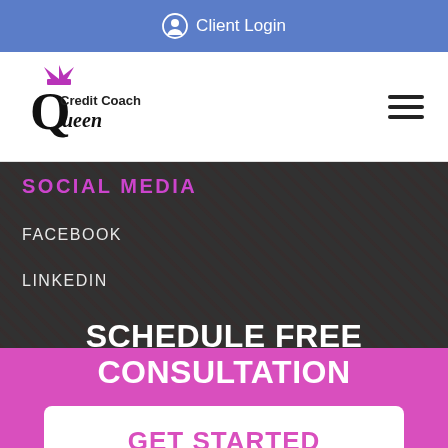Client Login
[Figure (logo): Credit Coach Queen logo — stylized letter Q with crown, black and pink, with text 'Credit Coach Queen']
SOCIAL MEDIA
FACEBOOK
LINKEDIN
SCHEDULE FREE CONSULTATION
GET STARTED